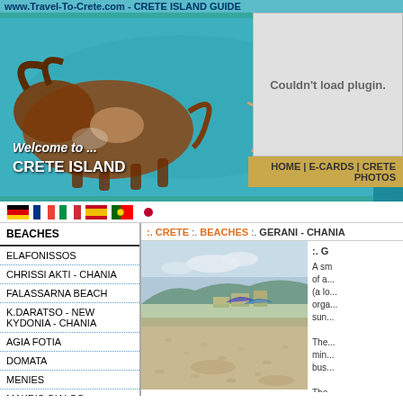www.Travel-To-Crete.com - CRETE ISLAND GUIDE
[Figure (illustration): Minoan bull-leaping fresco artwork on teal/cyan background banner with 'Welcome to ... CRETE ISLAND' text overlay]
HOME | E-CARDS | CRETE PHOTOS
Couldn't load plugin.
[Figure (infographic): Row of country flag icons: Germany, France, Italy, Spain, Portugal, Japan]
BEACHES
:. CRETE :. BEACHES :. GERANI - CHANIA
ELAFONISSOS
CHRISSI AKTI - CHANIA
FALASSARNA BEACH
K.DARATSO - NEW KYDONIA - CHANIA
AGIA FOTIA
DOMATA
MENIES
MAKRIS GIALOS
PLATANIAS CHANIA
MALIA
[Figure (photo): Sandy beach photo with blue sky, umbrellas and buildings visible in background]
:. G... A small... of a... (a lo... orga... sun... The... min... bus... The... uns... Lou... kilo...